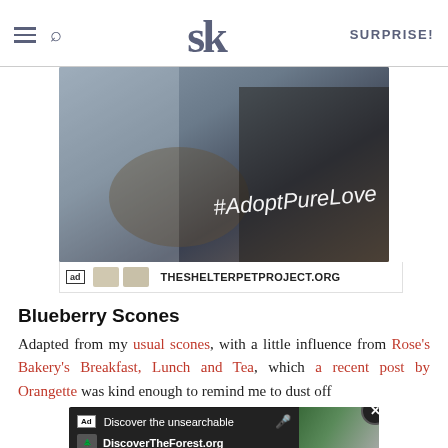SK | SURPRISE!
[Figure (photo): Advertisement photo showing a man and a cat with text #AdoptPureLove and THESHELTERPETPROJECT.ORG]
Blueberry Scones
Adapted from my usual scones, with a little influence from Rose's Bakery's Breakfast, Lunch and Tea, which a recent post by Orangette was kind enough to remind me to dust off
[Figure (screenshot): Bottom banner advertisement: Discover the unsearchable / DiscoverTheForest.org with forest image]
1 cup (